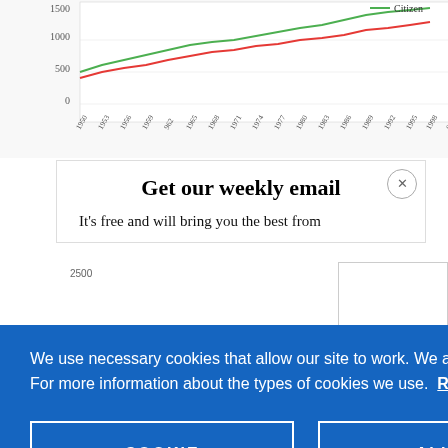[Figure (line-chart): Partially visible line chart showing data over years 1950–2001, with green and red lines. Y-axis shows values 0, 500, 1000, 1500+. Legend shows 'Citizen' label in green.]
Get our weekly email
It's free and will bring you the best from
We use necessary cookies that allow our site to work. We also set optional cookies that help us improve our website. For more information about the types of cookies we use. READ OUR COOKIES POLICY HERE
COOKIE SETTINGS
ALLOW ALL COOKIES
data.
The stor